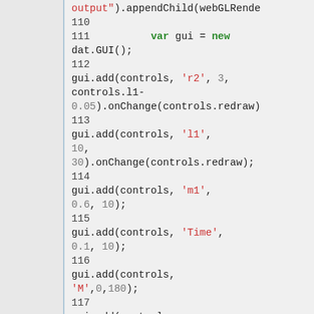[Figure (screenshot): Code editor screenshot showing JavaScript code lines 110–118, with syntax highlighting. Keywords 'var' and 'new' in green, string literals in red/orange, numbers in gray, and regular code in dark color.]